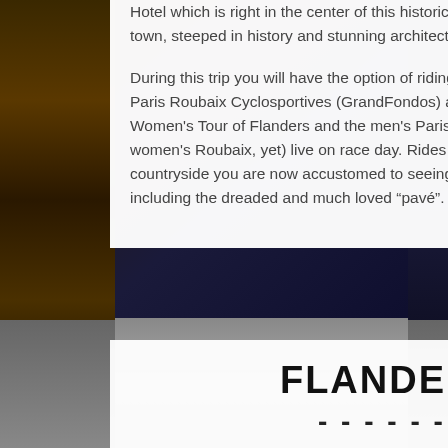Hotel which is right in the center of this historic town. Ghent is a wonderful old town, steeped in history and stunning architecture.

During this trip you will have the option of riding both the Tour of Flanders and Paris Roubaix Cyclosportives (GrandFondos) as well as seeing both the Women's Tour of Flanders and the men's Paris Roubaix (because there isn't a women's Roubaix, yet) live on race day. Rides will feature the traditional Belgian countryside you are now accustomed to seeing on TV during the spring, including the dreaded and much loved “pavé”.
FLANDERS -